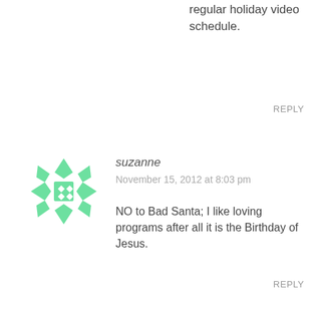regular holiday video schedule.
REPLY
suzanne
November 15, 2012 at 8:03 pm
NO to Bad Santa; I like loving programs after all it is the Birthday of Jesus.
REPLY
Becca L
November 15, 2012 at 10:25 pm
YES to Bad Santa!! I love movies like this!
REPLY